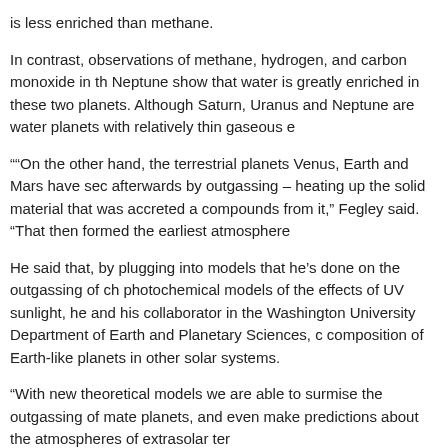is less enriched than methane.
In contrast, observations of methane, hydrogen, and carbon monoxide in the Neptune show that water is greatly enriched in these two planets. Although Saturn, Uranus and Neptune are water planets with relatively thin gaseous e
““On the other hand, the terrestrial planets Venus, Earth and Mars have sec afterwards by outgassing – heating up the solid material that was accreted a compounds from it,” Fegley said. “That then formed the earliest atmosphere
He said that, by plugging into models that he’s done on the outgassing of ch photochemical models of the effects of UV sunlight, he and his collaborator in the Washington University Department of Earth and Planetary Sciences, c composition of Earth-like planets in other solar systems.
“With new theoretical models we are able to surmise the outgassing of mate planets, and even make predictions about the atmospheres of extrasolar ter
“Because the composition of the galaxy is relatively uniform, most stars are about the same abundances of rocky elements, we can predict what these p like,” Fegley said. “I think that the atmospheres of extrasolar Earth-like plant than the Earth.”